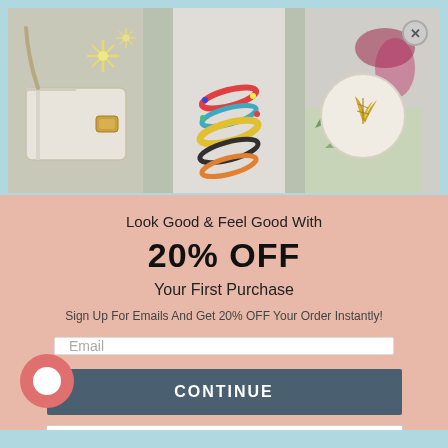[Figure (photo): Three-panel product image strip showing: left panel with a white handbag and decorative snowflake accessories; center panel with a person in white outfit with colorful spiral bracelets; right panel with a gold leaf pin/brooch on a white dish with tropical leaves.]
Look Good & Feel Good With
20% OFF
Your First Purchase
Sign Up For Emails And Get 20% OFF Your Order Instantly!
Email
CONTINUE
NO, I'LL PAY FULL PRICE